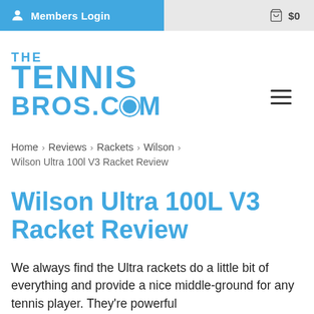Members Login  $0
[Figure (logo): The Tennis Bros.com logo in blue]
Home > Reviews > Rackets > Wilson > Wilson Ultra 100l V3 Racket Review
Wilson Ultra 100L V3 Racket Review
We always find the Ultra rackets do a little bit of everything and provide a nice middle-ground for any tennis player. They're powerful